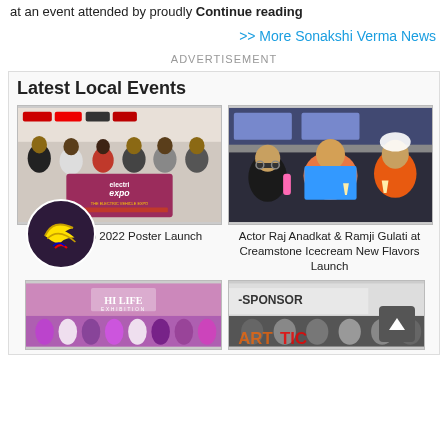at an event attended by proudly Continue reading
>> More Sonakshi Verma News
ADVERTISEMENT
Latest Local Events
[Figure (photo): Group of people at Electri Expo 2022 Poster Launch event, holding a banner with 'electri expo' logo, sponsor banners in background]
Electri Expo 2022 Poster Launch
[Figure (photo): Actor Raj Anadkat and Ramji Gulati posing with ice cream cups at Creamstone Icecream New Flavors Launch event]
Actor Raj Anadkat & Ramji Gulati at Creamstone Icecream New Flavors Launch
[Figure (photo): Group of models/people at Hi Life exhibition event]
[Figure (photo): Group of people at a sponsor event, partially visible banner reading -SPONSOR]
[Figure (illustration): Banana/fruit emoji sticker icon with dark circular background - chat app icon overlay]